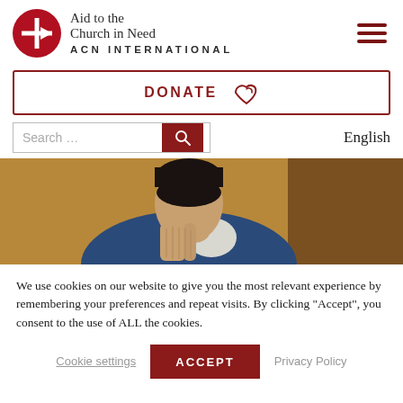[Figure (logo): Aid to the Church in Need ACN International logo with red circle cross and arrow symbol]
[Figure (other): Hamburger menu icon (three dark red horizontal lines)]
[Figure (other): DONATE button with red border and red hand/leaf icon]
[Figure (other): Search bar with red search button and English language label]
[Figure (photo): Man with dark hair in blue and white clothing, hands pressed together in prayer, head bowed]
We use cookies on our website to give you the most relevant experience by remembering your preferences and repeat visits. By clicking “Accept”, you consent to the use of ALL the cookies.
Cookie settings    ACCEPT    Privacy Policy